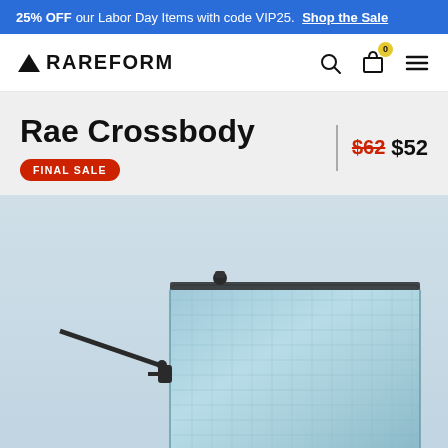25% OFF our Labor Day Items with code VIP25. Shop the Sale
[Figure (logo): RAREFORM logo with triangle icon and nav icons (search, cart with badge 0, hamburger menu)]
Rae Crossbody
FINAL SALE | $62 $52
[Figure (photo): Light blue metallic crossbody bag (Rae Crossbody) with dark zipper and strap hardware, shown from the front, cropped at bottom of frame.]